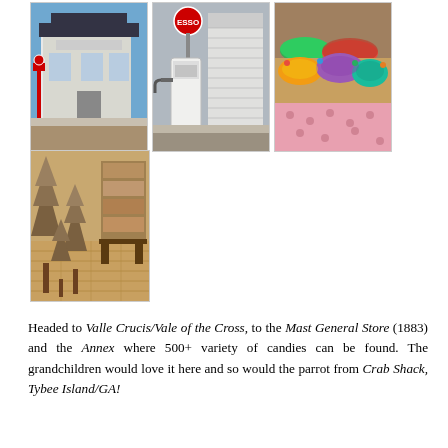[Figure (photo): Three photos in a row: a white building storefront with a red gas pump sign; an old white gas pump station with an Esso sign; a colorful candy display table with various sweets.]
[Figure (photo): Interior of Mast General Store showing wooden tree decorations/sculptures on a wooden floor with merchandise in background.]
Headed to Valle Crucis/Vale of the Cross, to the Mast General Store (1883) and the Annex where 500+ variety of candies can be found. The grandchildren would love it here and so would the parrot from Crab Shack, Tybee Island/GA!